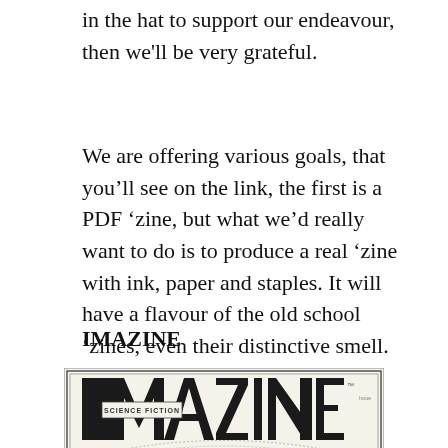in the hat to support our endeavour, then we'll be very grateful.
We are offering various goals, that you'll see on the link, the first is a PDF 'zine, but what we'd really want to do is to produce a real 'zine with ink, paper and staples. It will have a flavour of the old school 'zines, even their distinctive smell.
IMAZINE
[Figure (illustration): Cover of IMAZINE Science Fiction magazine showing bold blocky logo text 'IMAZINE' with 'SCIENCE FICTION' in a banner across the middle of the letters, with decorative arc/curve lines below on a light background]